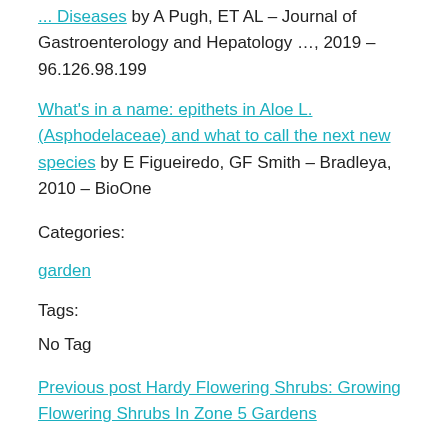... by A Pugh, ET AL – Journal of Gastroenterology and Hepatology …, 2019 – 96.126.98.199
What's in a name: epithets in Aloe L.(Asphodelaceae) and what to call the next new species by E Figueiredo, GF Smith – Bradleya, 2010 – BioOne
Categories:
garden
Tags:
No Tag
Previous post Hardy Flowering Shrubs: Growing Flowering Shrubs In Zone 5 Gardens